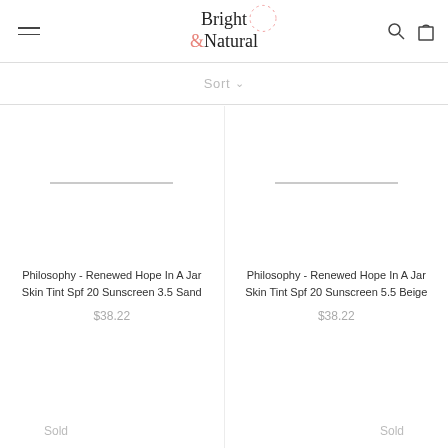Bright & Natural — navigation header with hamburger menu, logo, search and cart icons
Sort ∨
[Figure (other): Product image placeholder for Philosophy - Renewed Hope In A Jar Skin Tint Spf 20 Sunscreen 3.5 Sand]
Philosophy - Renewed Hope In A Jar Skin Tint Spf 20 Sunscreen 3.5 Sand
$38.22
Sold
[Figure (other): Product image placeholder for Philosophy - Renewed Hope In A Jar Skin Tint Spf 20 Sunscreen 5.5 Beige]
Philosophy - Renewed Hope In A Jar Skin Tint Spf 20 Sunscreen 5.5 Beige
$38.22
Sold